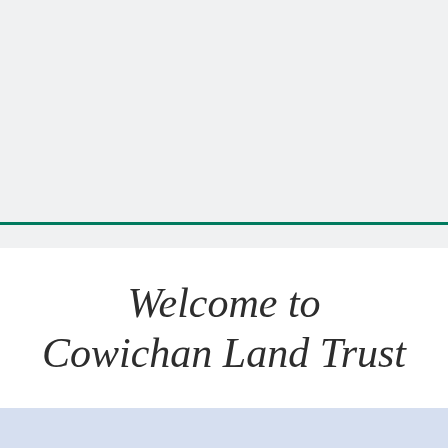Welcome to Cowichan Land Trust